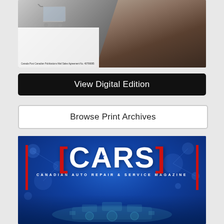[Figure (photo): Photo of a person typing on a laptop keyboard with a shopping cart in the foreground, with a Canada Post publication mail agreement notice overlaid in bottom left]
View Digital Edition
Browse Print Archives
[Figure (logo): CARS - Canadian Auto Repair & Service Magazine cover/logo on blue background with network graphic pattern and engine imagery at bottom]